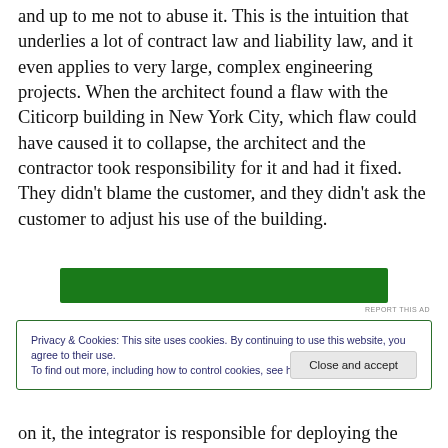and up to me not to abuse it. This is the intuition that underlies a lot of contract law and liability law, and it even applies to very large, complex engineering projects. When the architect found a flaw with the Citicorp building in New York City, which flaw could have caused it to collapse, the architect and the contractor took responsibility for it and had it fixed. They didn't blame the customer, and they didn't ask the customer to adjust his use of the building.
[Figure (other): Green advertisement banner]
REPORT THIS AD
Privacy & Cookies: This site uses cookies. By continuing to use this website, you agree to their use.
To find out more, including how to control cookies, see here: Cookie Policy
[Close and accept button]
on it, the integrator is responsible for deploying the